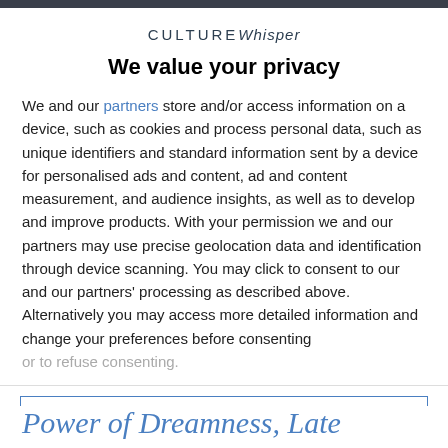CULTURE Whisper
We value your privacy
We and our partners store and/or access information on a device, such as cookies and process personal data, such as unique identifiers and standard information sent by a device for personalised ads and content, ad and content measurement, and audience insights, as well as to develop and improve products. With your permission we and our partners may use precise geolocation data and identification through device scanning. You may click to consent to our and our partners' processing as described above. Alternatively you may access more detailed information and change your preferences before consenting or to refuse consenting.
AGREE
MORE OPTIONS
Power of Dreamness, Late